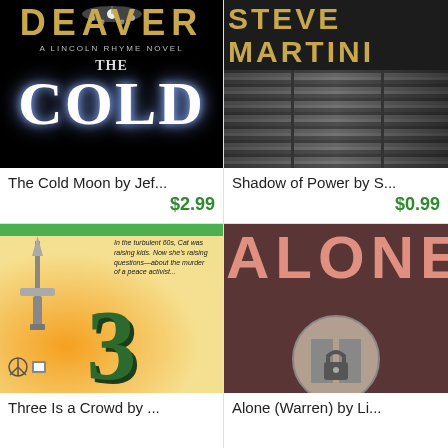[Figure (photo): Book cover for The Cold Moon by Jeffery Deaver - black background with gold author name DEAVER, subtitle A Lincoln Rhyme Novel, and large white text COLD]
The Cold Moon by Jef...
$2.99
[Figure (photo): Book cover for Shadow of Power by Steve Martini - dark background with gold letters STEVE MARTINI at top, venetian blinds in background]
Shadow of Power by S...
$0.99
[Figure (photo): Book cover for Three Is a Crowd - cream/yellow background with green number 3, dagger, text about turbulent 60s and murder of peace activist]
Three Is a Crowd by ...
[Figure (photo): Book cover for Alone (Warren) by Lisa Gardner - dark brownish-red background with large pink/salmon text ALONE and circular window with lock]
Alone (Warren) by Li...